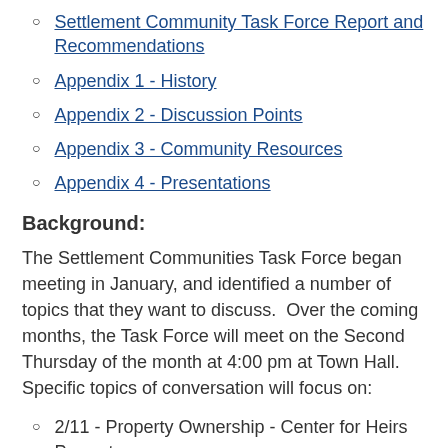Settlement Community Task Force Report and Recommendations
Appendix 1 - History
Appendix 2 - Discussion Points
Appendix 3 - Community Resources
Appendix 4 - Presentations
Background:
The Settlement Communities Task Force began meeting in January, and identified a number of topics that they want to discuss.  Over the coming months, the Task Force will meet on the Second Thursday of the month at 4:00 pm at Town Hall. Specific topics of conversation will focus on:
2/11 - Property Ownership - Center for Heirs Property
3/11 - Property Taxes - Charleston County Assessor & Town